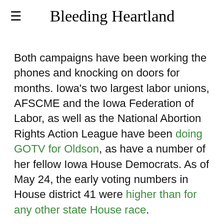Bleeding Heartland
Both campaigns have been working the phones and knocking on doors for months. Iowa's two largest labor unions, AFSCME and the Iowa Federation of Labor, as well as the National Abortion Rights Action League have been doing GOTV for Oldson, as have a number of her fellow Iowa House Democrats. As of May 24, the early voting numbers in House district 41 were higher than for any other state House race.
Bleeding Heartland posted background on